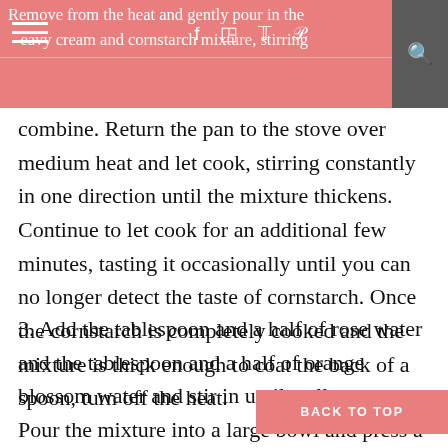Remove from the heat and gently pour in the heavy cream and cornstarch mixture, stirring
combine. Return the pan to the stove over medium heat and let cook, stirring constantly in one direction until the mixture thickens. Continue to let cook for an additional few minutes, tasting it occasionally until you can no longer detect the taste of cornstarch. Once the cornstarch is completely cooked and the mixture is thick enough to coat the back of a spoon, turn off the heat.
3. Add the tablespoon and a half of rose water and the tablespoon and a half of orange blossom water and stir in until well combined. Pour the mixture into a large bowl and press a